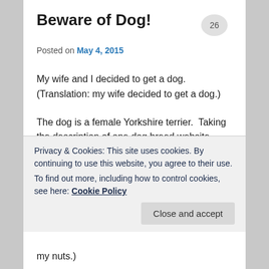Beware of Dog!
Posted on May 4, 2015
My wife and I decided to get a dog.  (Translation: my wife decided to get a dog.)
The dog is a female Yorkshire terrier.  Taking the description of one dog breed website, terriers are good for people who 1) don't want a large bulky dog; 2) want a dog that's playful and social with people; 3) likes their dog to
Privacy & Cookies: This site uses cookies. By continuing to use this website, you agree to their use.
To find out more, including how to control cookies, see here: Cookie Policy
my nuts.)